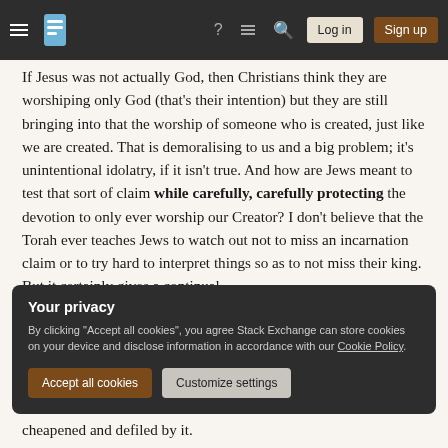Stack Exchange navigation bar with hamburger menu, logo, help, chat, search icons, Log in and Sign up buttons
If Jesus was not actually God, then Christians think they are worshiping only God (that's their intention) but they are still bringing into that the worship of someone who is created, just like we are created. That is demoralising to us and a big problem; it's unintentional idolatry, if it isn't true. And how are Jews meant to test that sort of claim while carefully, carefully protecting the devotion to only ever worship our Creator? I don't believe that the Torah ever teaches Jews to watch out not to miss an incarnation claim or to try hard to interpret things so as to not miss their king. But it certainly gives a continual
Your privacy
By clicking "Accept all cookies", you agree Stack Exchange can store cookies on your device and disclose information in accordance with our Cookie Policy.
Accept all cookies
Customize settings
cheapened and defiled by it.